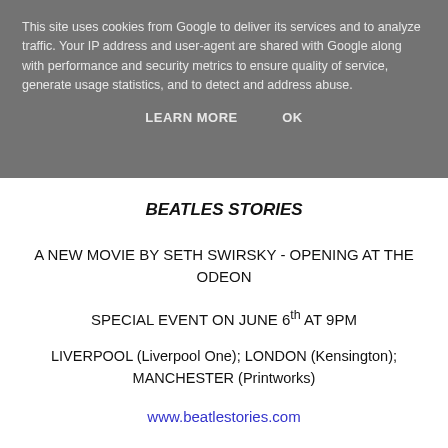This site uses cookies from Google to deliver its services and to analyze traffic. Your IP address and user-agent are shared with Google along with performance and security metrics to ensure quality of service, generate usage statistics, and to detect and address abuse.
LEARN MORE   OK
BEATLES STORIES
A NEW MOVIE BY SETH SWIRSKY - OPENING AT THE ODEON
SPECIAL EVENT ON JUNE 6th AT 9PM
LIVERPOOL (Liverpool One); LONDON (Kensington); MANCHESTER (Printworks)
www.beatlestories.com